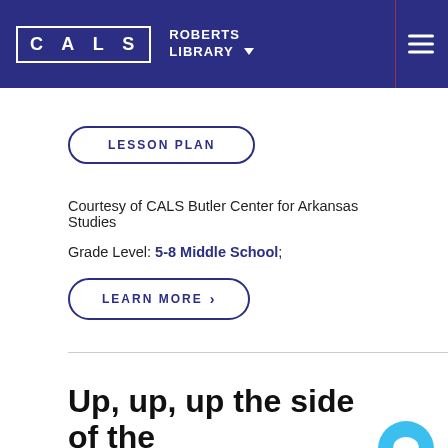CALS ROBERTS LIBRARY
LESSON PLAN
Courtesy of CALS Butler Center for Arkansas Studies
Grade Level: 5-8 Middle School;
LEARN MORE
Up, up, up the side of the mountain